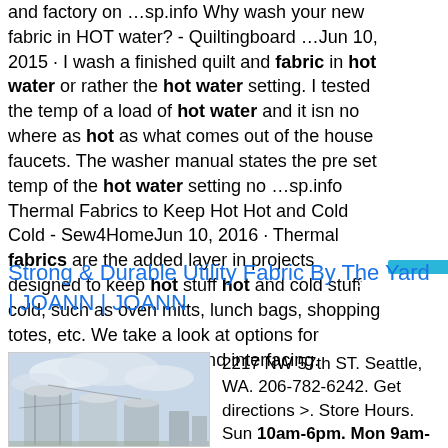and factory on …sp.info Why wash your new fabric in HOT water? - Quiltingboard …Jun 10, 2015 · I wash a finished quilt and fabric in hot water or rather the hot water setting. I tested the temp of a load of hot water and it isn no where as hot as what comes out of the house faucets. The washer manual states the pre set temp of the hot water setting no …sp.info Thermal Fabrics to Keep Hot Hot and Cold Cold - Sew4HomeJun 10, 2016 · Thermal fabrics are the added layer in projects designed to keep hot stuff hot and cold stuff cold, such as oven mitts, lunch bags, shopping totes, etc. We take a look at options for thermal batting, fabric, and interfacing.
Strong & Durable Utility Fabric By The Yard | JOANN | JOANN
[Figure (photo): Outdoor industrial silos or tanks against a cloudy sky]
2217 NW 57th ST. Seattle, WA. 206-782-6242. Get directions >. Store Hours. Sun 10am-6pm. Mon 9am-